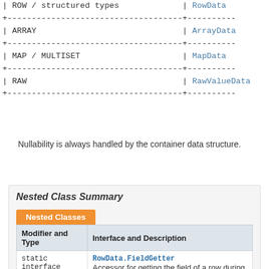| Type | Class |
| --- | --- |
| ROW / structured types | RowData |
| ARRAY | ArrayData |
| MAP / MULTISET | MapData |
| RAW | RawValueData |
Nullability is always handled by the container data structure.
Nested Class Summary
| Modifier and Type | Interface and Description |
| --- | --- |
| static interface | RowData.FieldGetter
Accessor for getting the field of a row during runtime. |